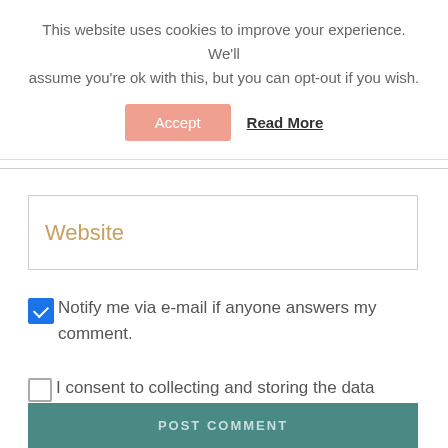This website uses cookies to improve your experience. We'll assume you're ok with this, but you can opt-out if you wish.
Accept   Read More
Website
Notify me via e-mail if anyone answers my comment.
I consent to collecting and storing the data I submit in this form. (Privacy Policy) *
POST COMMENT